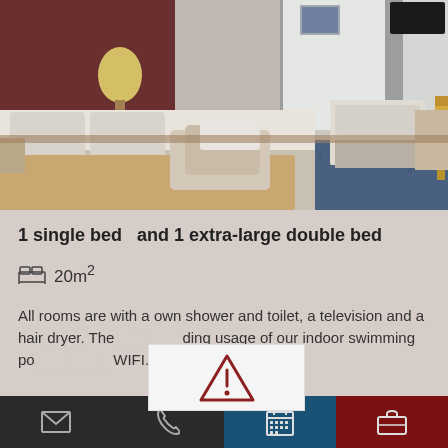[Figure (photo): Hotel room interior showing beds with white linens, a beige quilt/runner, pillows, a lamp on the wall, curtains by windows, blue carpet, a wooden chair, and a small desk area in the background.]
1 single bed  and 1 extra-large double bed
20m²
All rooms are with a own shower and toilet, a television and a hair dryer. The [obscured] ding usage of our indoor swimming po [obscured] WIFI.
[Figure (other): A small popup overlay showing a red triangle warning/alert icon on a light gray background.]
Email | Phone | Calendar | Briefcase (navigation icons)